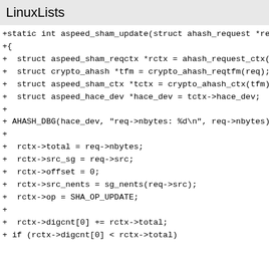LinuxLists
+static int aspeed_sham_update(struct ahash_request *req)
+{
+ struct aspeed_sham_reqctx *rctx = ahash_request_ctx(req);
+ struct crypto_ahash *tfm = crypto_ahash_reqtfm(req);
+ struct aspeed_sham_ctx *tctx = crypto_ahash_ctx(tfm);
+ struct aspeed_hace_dev *hace_dev = tctx->hace_dev;
+
+ AHASH_DBG(hace_dev, "req->nbytes: %d\n", req->nbytes);
+
+ rctx->total = req->nbytes;
+ rctx->src_sg = req->src;
+ rctx->offset = 0;
+ rctx->src_nents = sg_nents(req->src);
+ rctx->op = SHA_OP_UPDATE;
+
+ rctx->digcnt[0] += rctx->total;
+ if (rctx->digcnt[0] < rctx->total)